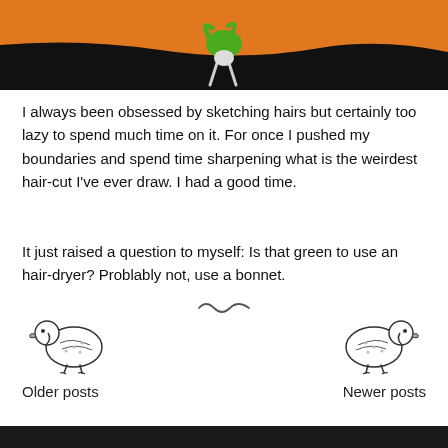[Figure (illustration): Top banner image with orange and black background showing an illustrated character with green hair hanging upside down]
I always been obsessed by sketching hairs but certainly too lazy to spend much time on it. For once I pushed my boundaries and spend time sharpening what is the weirdest hair-cut I've ever draw. I had a good time.
It just raised a question to myself: Is that green to use an hair-dryer? Problably not, use a bonnet.
[Figure (illustration): Decorative separator showing a small looping infinity-like squiggle symbol]
[Figure (illustration): Small duck illustration facing right, used as Older posts navigation link]
Older posts
[Figure (illustration): Small duck illustration facing left, used as Newer posts navigation link]
Newer posts